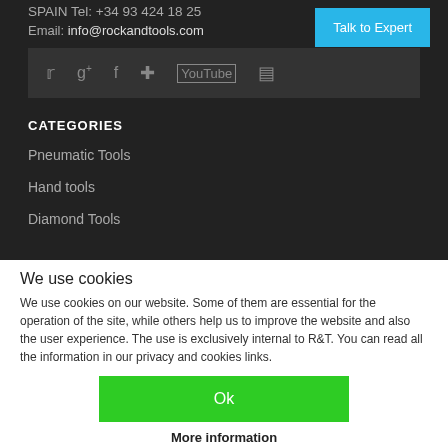SPAIN Tel: +34 93 424 18 25
Email: info@rockandtools.com
Talk to Expert
[Figure (other): Social media icons bar: Twitter, Google+, Facebook, Pinterest, YouTube, Instagram]
CATEGORIES
Pneumatic Tools
Hand tools
Diamond Tools
We use cookies
We use cookies on our website. Some of them are essential for the operation of the site, while others help us to improve the website and also the user experience. The use is exclusively internal to R&T. You can read all the information in our privacy and cookies links.
Ok
More information